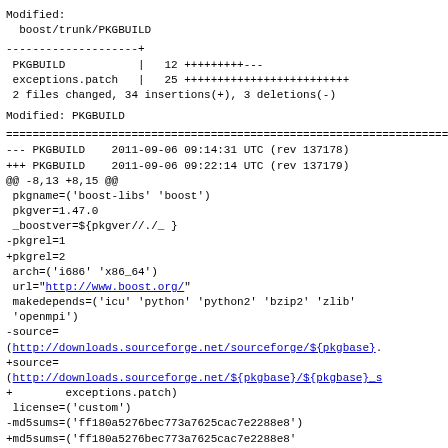Modified:
  boost/trunk/PKGBUILD
--------------------+
 PKGBUILD           |   12 +++++++++---
 exceptions.patch   |   25 +++++++++++++++++++++++++
 2 files changed, 34 insertions(+), 3 deletions(-)
Modified: PKGBUILD
======================================================================
--- PKGBUILD    2011-09-06 09:14:31 UTC (rev 137178)
+++ PKGBUILD    2011-09-06 09:22:14 UTC (rev 137179)
@@ -8,13 +8,15 @@
 pkgname=('boost-libs' 'boost')
 pkgver=1.47.0
 _boostver=${pkgver//./_ }
-pkgrel=1
+pkgrel=2
 arch=('i686' 'x86_64')
 url="http://www.boost.org/"
 makedepends=('icu' 'python' 'python2' 'bzip2' 'zlib'
 'openmpi')
-source=
(http://downloads.sourceforge.net/sourceforge/${pkgbase}.
+source=
(http://downloads.sourceforge.net/${pkgbase}/${pkgbase}_s
+        exceptions.patch)
 license=('custom')
-md5sums=('ff180a5276bec773a7625cac7e2288e8')
+md5sums=('ff180a5276bec773a7625cac7e2288e8'